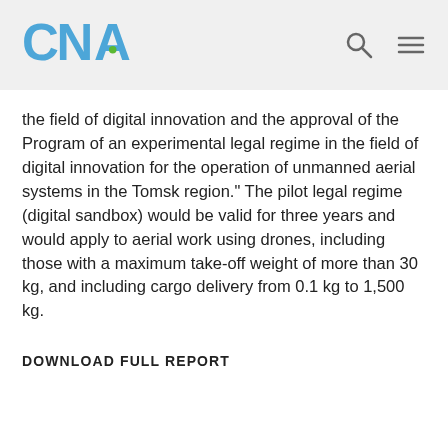CNA
the field of digital innovation and the approval of the Program of an experimental legal regime in the field of digital innovation for the operation of unmanned aerial systems in the Tomsk region." The pilot legal regime (digital sandbox) would be valid for three years and would apply to aerial work using drones, including those with a maximum take-off weight of more than 30 kg, and including cargo delivery from 0.1 kg to 1,500 kg.
DOWNLOAD FULL REPORT